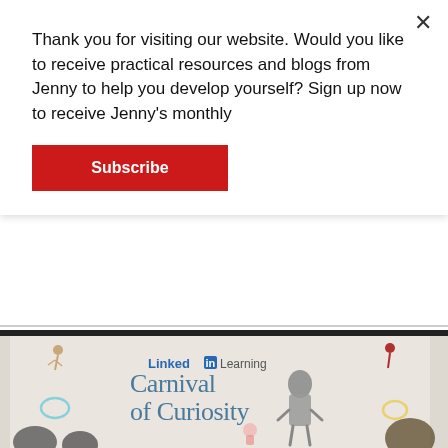Thank you for visiting our website. Would you like to receive practical resources and blogs from Jenny to help you develop yourself? Sign up now to receive Jenny's monthly
Subscribe
[Figure (photo): Woman presenting on stage at a LinkedIn Learning Carnival of Curiosity event, with illustrated circus performers on a backdrop banner behind her and audience members seated in the foreground.]